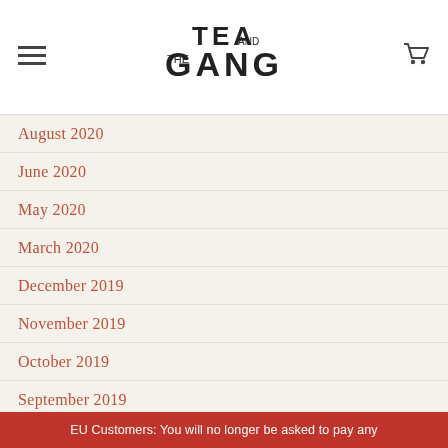TEA AND THE GANG
August 2020
June 2020
May 2020
March 2020
December 2019
November 2019
October 2019
September 2019
August 2019
EU Customers: You will no longer be asked to pay any